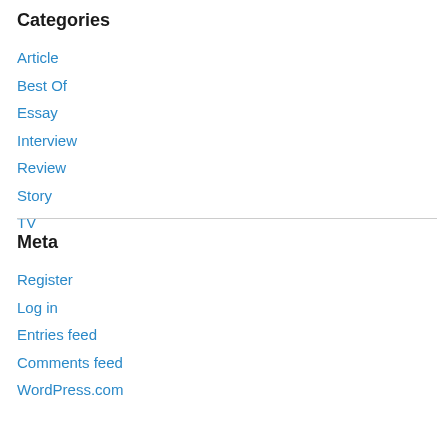Categories
Article
Best Of
Essay
Interview
Review
Story
TV
Meta
Register
Log in
Entries feed
Comments feed
WordPress.com